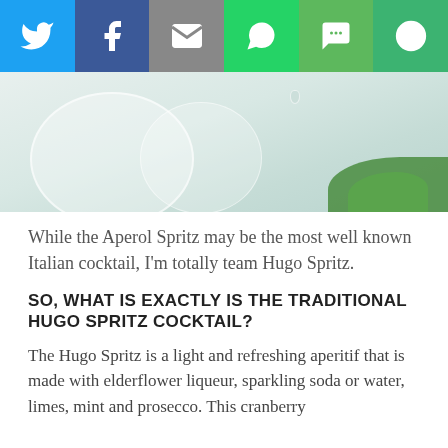[Figure (infographic): Social media share bar with six icon buttons: Twitter (blue), Facebook (dark blue), Email (grey), WhatsApp (green), SMS (green), and a circular arrow/other icon (green)]
[Figure (photo): Close-up photo of a cocktail glass with condensation droplets on a white/light background, with green mint leaves visible in the lower right corner]
While the Aperol Spritz may be the most well known Italian cocktail, I'm totally team Hugo Spritz.
SO, WHAT IS EXACTLY IS THE TRADITIONAL HUGO SPRITZ COCKTAIL?
The Hugo Spritz is a light and refreshing aperitif that is made with elderflower liqueur, sparkling soda or water, limes, mint and prosecco. This cranberry